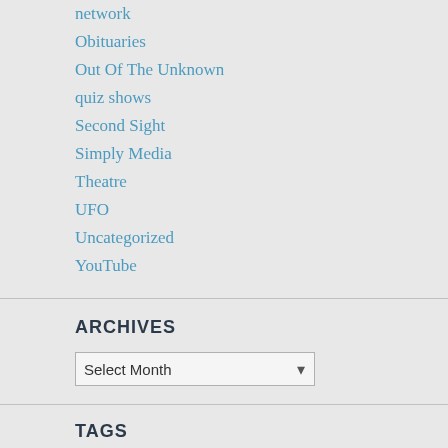network
Obituaries
Out Of The Unknown
quiz shows
Second Sight
Simply Media
Theatre
UFO
Uncategorized
YouTube
ARCHIVES
Select Month
TAGS
25 years of Rock  acorn dvd  adam adamant lives!  A Foreign Field  aimi macdonald  Alec Guinness  alexandra bastedo  alfred burke  allen urien  an age of kings  alan corduell  andrew